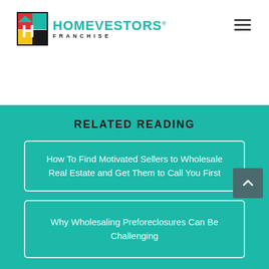HomeVestors Franchise
RELATED READING
How To Find Motivated Sellers to Wholesale Real Estate and Get Them to Call You First
Why Wholesaling Preforeclosures Can Be Challenging